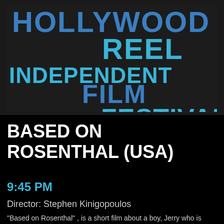[Figure (logo): Hollywood Reel Independent Film Festival logo — dark background with teal and blue large bold stacked text]
BASED ON ROSENTHAL (USA)
9:45 PM
Director: Stephen Kinigopoulos
"Based on Rosenthal" , is a short film about a boy, Jerry who is